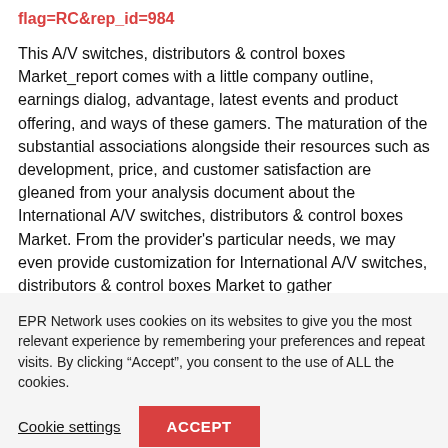flag=RC&rep_id=984
This A/V switches, distributors & control boxes Market_report comes with a little company outline, earnings dialog, advantage, latest events and product offering, and ways of these gamers. The maturation of the substantial associations alongside their resources such as development, price, and customer satisfaction are gleaned from your analysis document about the International A/V switches, distributors & control boxes Market. From the provider's particular needs, we may even provide customization for International A/V switches, distributors & control boxes Market to gather
EPR Network uses cookies on its websites to give you the most relevant experience by remembering your preferences and repeat visits. By clicking “Accept”, you consent to the use of ALL the cookies.
Cookie settings
ACCEPT